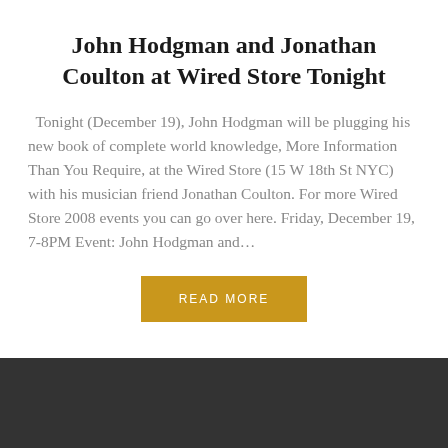John Hodgman and Jonathan Coulton at Wired Store Tonight
Tonight (December 19), John Hodgman will be plugging his new book of complete world knowledge, More Information Than You Require, at the Wired Store (15 W 18th St NYC) with his musician friend Jonathan Coulton. For more Wired Store 2008 events you can go over here. Friday, December 19, 7-8PM Event: John Hodgman and…
READ MORE